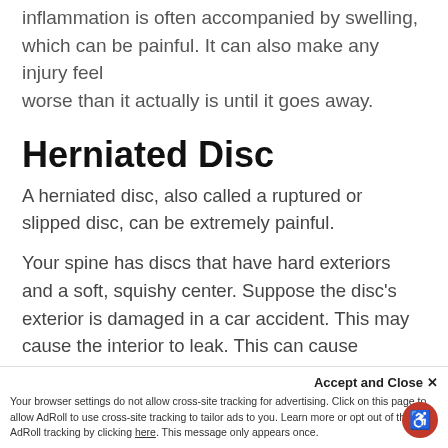Inflammation is often accompanied by swelling, which can be painful. It can also make any injury feel worse than it actually is until it goes away.
Herniated Disc
A herniated disc, also called a ruptured or slipped disc, can be extremely painful.
Your spine has discs that have hard exteriors and a soft, squishy center. Suppose the disc's exterior is damaged in a car accident. This may cause the interior to leak. This can cause weakness, damage to other nerves, numbness, and pain.
other nerves, numbness, and pain.
Accept and Close ×
Your browser settings do not allow cross-site tracking for advertising. Click on this page to allow AdRoll to use cross-site tracking to tailor ads to you. Learn more or opt out of this AdRoll tracking by clicking here. This message only appears once.